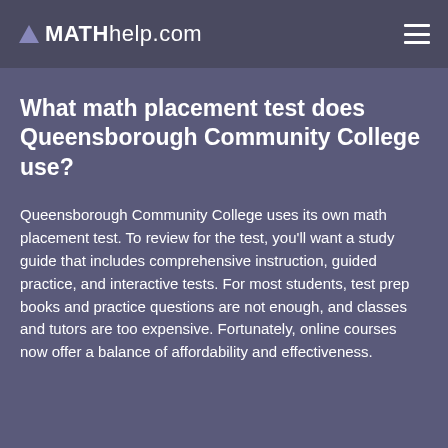MATHhelp.com
What math placement test does Queensborough Community College use?
Queensborough Community College uses its own math placement test. To review for the test, you’ll want a study guide that includes comprehensive instruction, guided practice, and interactive tests. For most students, test prep books and practice questions are not enough, and classes and tutors are too expensive. Fortunately, online courses now offer a balance of affordability and effectiveness.